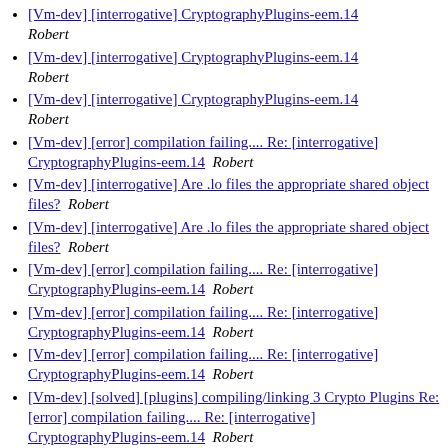[Vm-dev] [interrogative] CryptographyPlugins-eem.14  Robert
[Vm-dev] [interrogative] CryptographyPlugins-eem.14  Robert
[Vm-dev] [interrogative] CryptographyPlugins-eem.14  Robert
[Vm-dev] [error] compilation failing.... Re: [interrogative] CryptographyPlugins-eem.14  Robert
[Vm-dev] [interrogative] Are .lo files the appropriate shared object files?  Robert
[Vm-dev] [interrogative] Are .lo files the appropriate shared object files?  Robert
[Vm-dev] [error] compilation failing.... Re: [interrogative] CryptographyPlugins-eem.14  Robert
[Vm-dev] [error] compilation failing.... Re: [interrogative] CryptographyPlugins-eem.14  Robert
[Vm-dev] [error] compilation failing.... Re: [interrogative] CryptographyPlugins-eem.14  Robert
[Vm-dev] [solved] [plugins] compiling/linking 3 Crypto Plugins Re: [error] compilation failing.... Re: [interrogative] CryptographyPlugins-eem.14  Robert
[Vm-dev] [ERROR] Crypto plugins not loading Re: [solved] [plugins] compiling/linking 3 Crypto Plugins Re: [error] compilation failing.... Re: [interrogative] CryptographyPlugins-eem.14  Robert